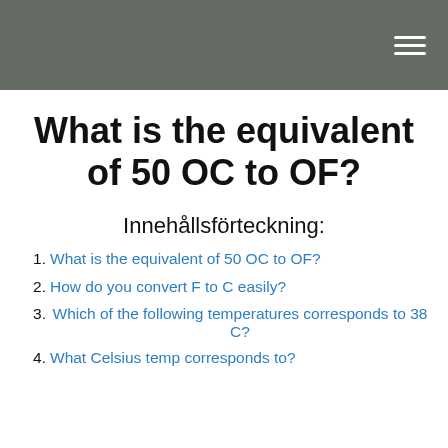What is the equivalent of 50 OC to OF?
Innehållsförteckning:
1. What is the equivalent of 50 OC to OF?
2. How do you convert F to C easily?
3. Which of the following temperatures corresponds to 38 C?
4. What Celsius temp corresponds to?